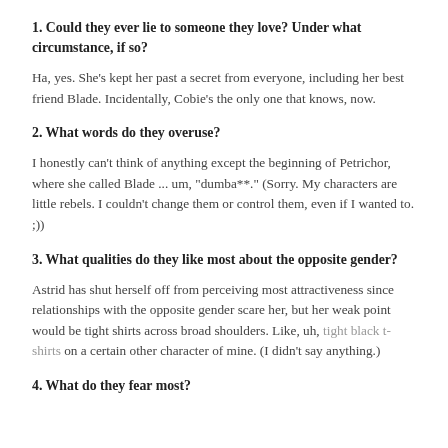1. Could they ever lie to someone they love? Under what circumstance, if so?
Ha, yes. She's kept her past a secret from everyone, including her best friend Blade. Incidentally, Cobie's the only one that knows, now.
2. What words do they overuse?
I honestly can't think of anything except the beginning of Petrichor, where she called Blade ... um, "dumba**." (Sorry. My characters are little rebels. I couldn't change them or control them, even if I wanted to. ;))
3. What qualities do they like most about the opposite gender?
Astrid has shut herself off from perceiving most attractiveness since relationships with the opposite gender scare her, but her weak point would be tight shirts across broad shoulders. Like, uh, tight black t-shirts on a certain other character of mine. (I didn't say anything.)
4. What do they fear most?